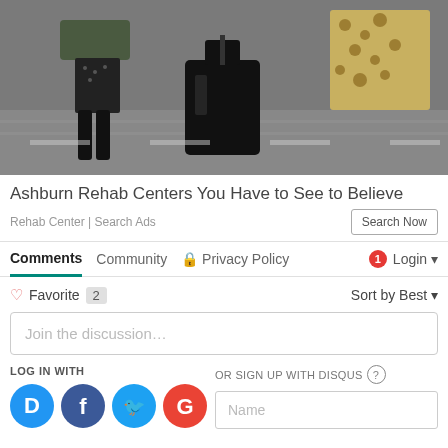[Figure (photo): Photo of two people walking on a street, one wearing a dark outfit with tights and the other in a leopard print outfit, carrying a dark bag.]
Ashburn Rehab Centers You Have to See to Believe
Rehab Center | Search Ads
Comments  Community  Privacy Policy  Login
Favorite 2   Sort by Best
Join the discussion...
LOG IN WITH
OR SIGN UP WITH DISQUS
Name